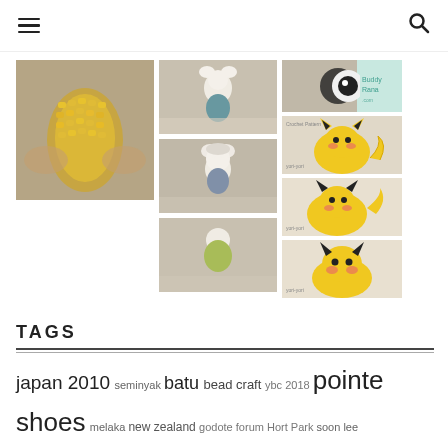hamburger menu | search icon
[Figure (photo): Grid of crochet/amigurumi photos: a corn cob held in hands, small crocheted dolls, and yellow Pikachu amigurumi figures from multiple angles]
TAGS
japan 2010 seminyak batu bead craft ybc 2018 pointe shoes melaka new zealand godote forum Hort Park soon lee halloween photos muni sentosa nrr haircut thoughts